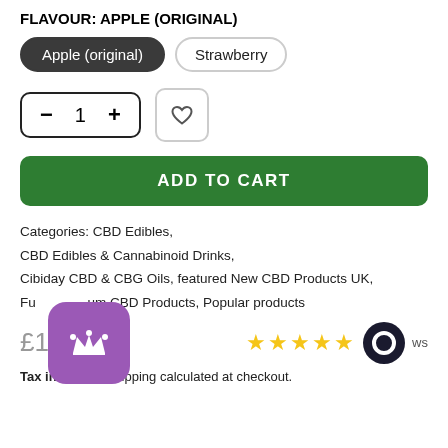FLAVOUR: APPLE (ORIGINAL)
Apple (original)   Strawberry
- 1 + [wishlist]
ADD TO CART
Categories: CBD Edibles, CBD Edibles & Cannabinoid Drinks, Cibiday CBD & CBG Oils, featured New CBD Products UK, Fu...um CBD Products, Popular products
£1.99
★★★★★ ws
Tax included. Shipping calculated at checkout.